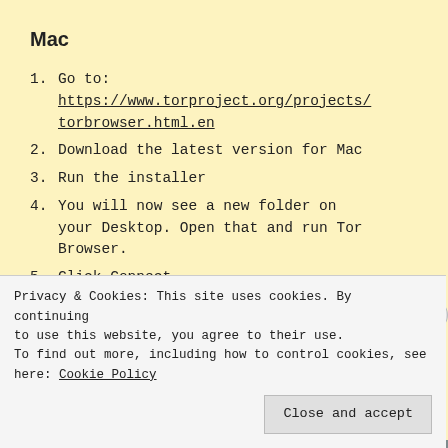Mac
1. Go to: https://www.torproject.org/projects/torbrowser.html.en
2. Download the latest version for Mac
3. Run the installer
4. You will now see a new folder on your Desktop. Open that and run Tor Browser.
5. Click Connect
Privacy & Cookies: This site uses cookies. By continuing to use this website, you agree to their use.
To find out more, including how to control cookies, see here: Cookie Policy